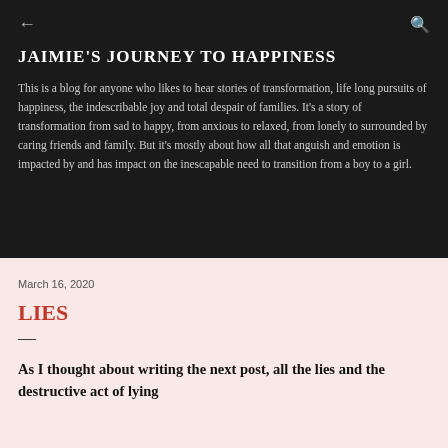← JAIMIE'S JOURNEY TO HAPPINESS 🔍
JAIMIE'S JOURNEY TO HAPPINESS
This is a blog for anyone who likes to hear stories of transformation, life long pursuits of happiness, the indescribable joy and total despair of families. It's a story of transformation from sad to happy, from anxious to relaxed, from lonely to surrounded by caring friends and family. But it's mostly about how all that anguish and emotion is impacted by and has impact on the inescapable need to transition from a boy to a girl.
March 16, 2020
LIES
—
As I thought about writing the next post, all the lies and the destructive act of lying